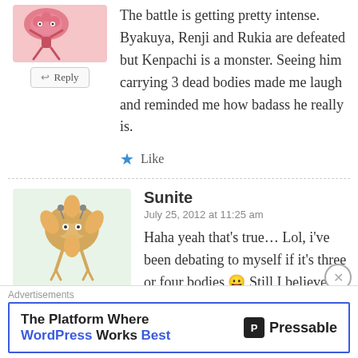The battle is getting pretty intense. Byakuya, Renji and Rukia are defeated but Kenpachi is a monster. Seeing him carrying 3 dead bodies made me laugh and reminded me how badass he really is.
Like
Sunite
July 25, 2012 at 11:25 am
Haha yeah that's true… Lol, i've been debating to myself if it's three or four bodies 😛 Still I believe that he's not going to be a match for
Advertisements
The Platform Where WordPress Works Best